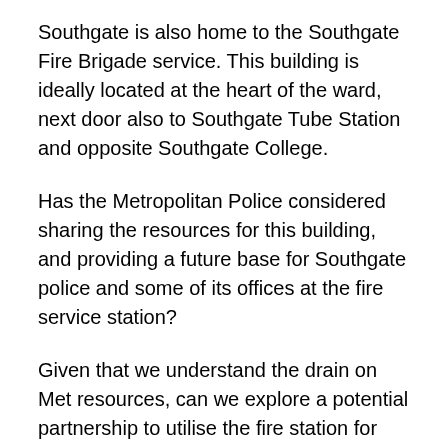Southgate is also home to the Southgate Fire Brigade service. This building is ideally located at the heart of the ward, next door also to Southgate Tube Station and opposite Southgate College.
Has the Metropolitan Police considered sharing the resources for this building, and providing a future base for Southgate police and some of its offices at the fire service station?
Given that we understand the drain on Met resources, can we explore a potential partnership to utilise the fire station for both services? This idea has already been mentioned at Essex County Council, and has received some credit. If not the fire station, can the ward police explore a permeant base in a public building so that residents are aware where to find them?